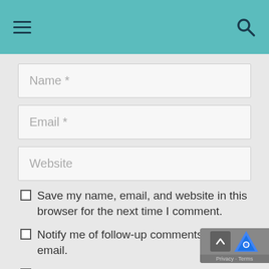≡ [hamburger menu] [search icon]
Name *
Email *
Website
Save my name, email, and website in this browser for the next time I comment.
Notify me of follow-up comments by email.
Notify me of new posts by email.